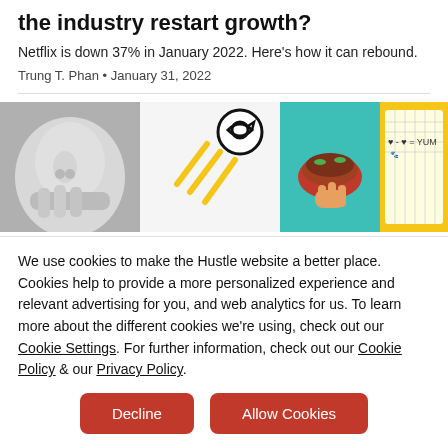the industry restart growth?
Netflix is down 37% in January 2022. Here's how it can rebound.
Trung T. Phan · January 31, 2022
[Figure (photo): A collage of images: a black-and-white photo of a person biting their nails, a white cartoon background with yellow diagonal lines and a black circular logo, a teal card with a hand holding a food wrap/taco, and a yellow grid notebook with small hand-drawn icons and the text 'YUM'.]
We use cookies to make the Hustle website a better place. Cookies help to provide a more personalized experience and relevant advertising for you, and web analytics for us. To learn more about the different cookies we're using, check out our Cookie Settings. For further information, check out our Cookie Policy & our Privacy Policy.